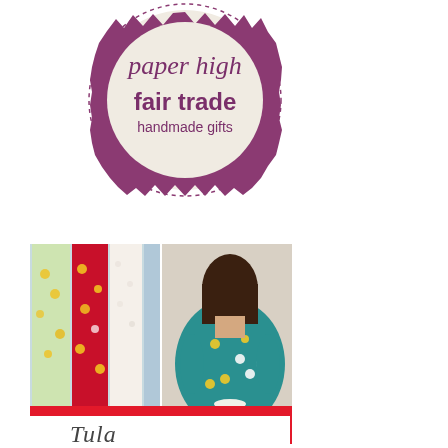[Figure (logo): Paper High fair trade handmade gifts circular badge logo with purple zigzag border and dashed outer ring]
[Figure (photo): Collage of colorful floral fabrics on the left and a girl wearing a teal floral dress seen from behind on the right, with a red 'TO THE SHOP' banner at the bottom]